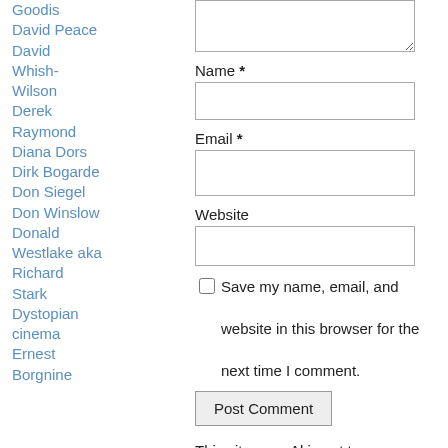Goodis
David Peace
David Whish-Wilson
Derek Raymond
Diana Dors
Dirk Bogarde
Don Siegel
Don Winslow
Donald Westlake aka Richard Stark
Dystopian cinema
Ernest Borgnine
Name *
Email *
Website
Save my name, email, and website in this browser for the next time I comment.
Post Comment
This site uses Akismet to